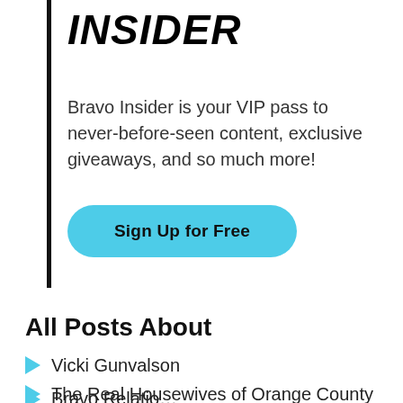INSIDER
Bravo Insider is your VIP pass to never-before-seen content, exclusive giveaways, and so much more!
[Figure (other): Cyan rounded-rectangle button labeled 'Sign Up for Free']
All Posts About
Vicki Gunvalson
The Real Housewives of Orange County
Bravo Relationships (partial, clipped)